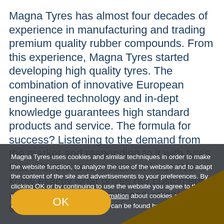Magna Tyres has almost four decades of experience in manufacturing and trading premium quality rubber compounds. From this experience, Magna Tyres started developing high quality tyres. The combination of innovative European engineered technology and in-dept knowledge guarantees high standard products and service. The formula for success? Listening to the demand from the market and responding to it with tyres that offer the lowest cost per hour. We know exactly what drives our customers and we ensure that they can complete their job done.
Magna Tyres uses cookies and similar techniques in order to make the website function, to analyze the use of the website and to adapt the content of the site and advertisements to your preferences. By clicking OK or by continuing to use the website you agree to the placement of cookies. More information about cookies and the use of personal data by Magna Tyres can be found here.